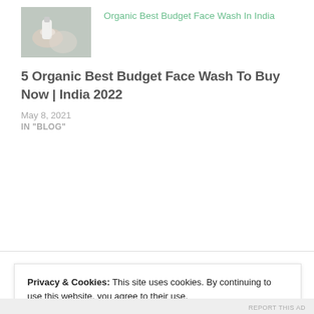[Figure (photo): Thumbnail photo of a hand holding a white face wash tube/bottle]
Organic Best Budget Face Wash In India
5 Organic Best Budget Face Wash To Buy Now | India 2022
May 8, 2021
IN "BLOG"
Privacy & Cookies: This site uses cookies. By continuing to use this website, you agree to their use.
To find out more, including how to control cookies, see here: Cookie Policy
CLOSE AND ACCEPT